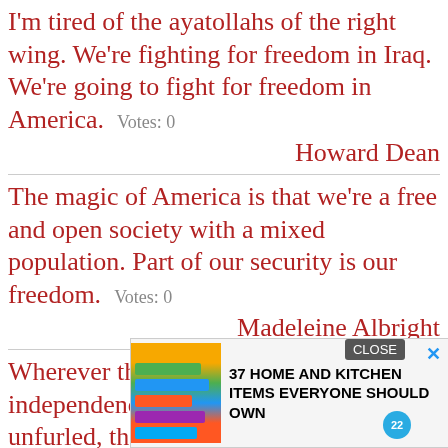I'm tired of the ayatollahs of the right wing. We're fighting for freedom in Iraq. We're going to fight for freedom in America. Votes: 0
Howard Dean
The magic of America is that we're a free and open society with a mixed population. Part of our security is our freedom. Votes: 0
Madeleine Albright
Wherever the standard of freedom and independence has been or shall be unfurled, there will be America's heart, her benedictions and h[obscured by ad]
John Quincy Adams
[Figure (screenshot): Advertisement overlay: '37 HOME AND KITCHEN ITEMS EVERYONE SHOULD OWN' with colorful storage bags image, close button, X button, and badge with number 22]
Take a stand, America! You deserve better.